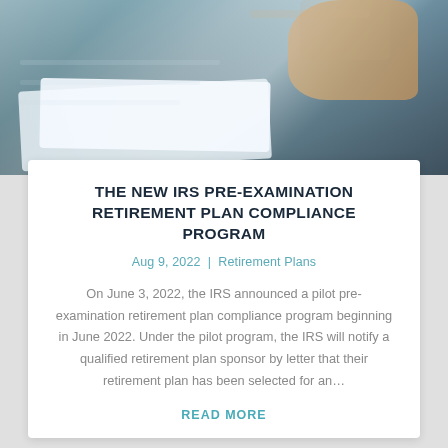[Figure (photo): Close-up photo of hands signing documents on a desk, with papers spread out, blurred background in teal/dark tones]
THE NEW IRS PRE-EXAMINATION RETIREMENT PLAN COMPLIANCE PROGRAM
Aug 9, 2022 | Retirement Plans
On June 3, 2022, the IRS announced a pilot pre-examination retirement plan compliance program beginning in June 2022. Under the pilot program, the IRS will notify a qualified retirement plan sponsor by letter that their retirement plan has been selected for an…
READ MORE